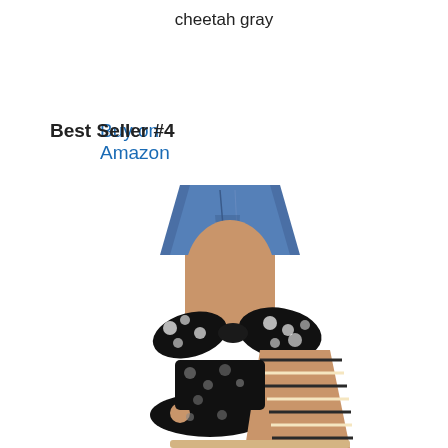cheetah gray
Buy on Amazon
Best Seller #4
[Figure (photo): A pair of black and white polka dot wedge sandals with a large bow detail, worn by a person in distressed jeans. The wedge heel has a woven/striped pattern. The sandals have a peep toe design.]